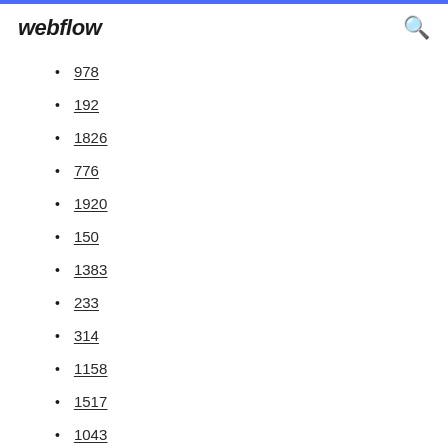webflow
978
192
1826
776
1920
150
1383
233
314
1158
1517
1043